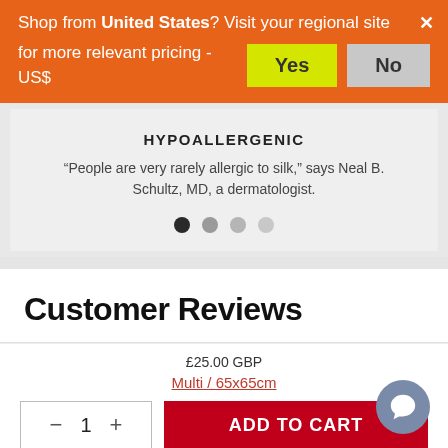Shop from United States? Visit your regional site for more relevant pricing - US$
HYPOALLERGENIC
“People are very rarely allergic to silk,” says Neal B. Schultz, MD, a dermatologist.
Customer Reviews
£25.00 GBP
Multi / 65x65cm
ADD TO CART